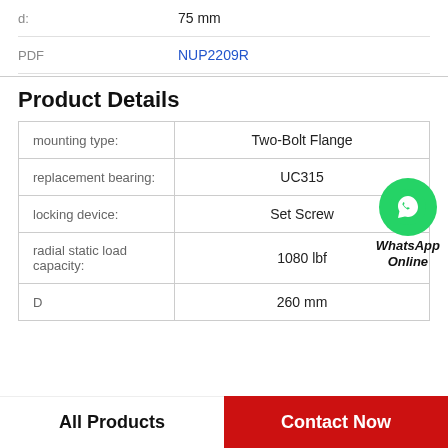|  |  |
| --- | --- |
| d: | 75 mm |
| PDF | NUP2209R |
Product Details
| Property | Value |
| --- | --- |
| mounting type: | Two-Bolt Flange |
| replacement bearing: | UC315 |
| locking device: | Set Screw |
| radial static load capacity: | 1080 lbf |
| D | 260 mm |
All Products   Contact Now